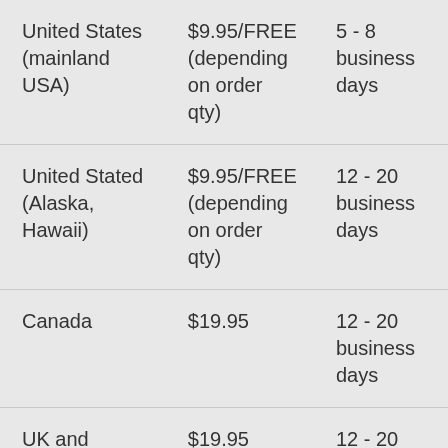| United States (mainland USA) | $9.95/FREE (depending on order qty) | 5 - 8 business days |
| United Stated (Alaska, Hawaii) | $9.95/FREE (depending on order qty) | 12 - 20 business days |
| Canada | $19.95 | 12 - 20 business days |
| UK and Ireland | $19.95 | 12 - 20 business days |
| Australia and New Zealand | $19.95 | 12 - 20 business |